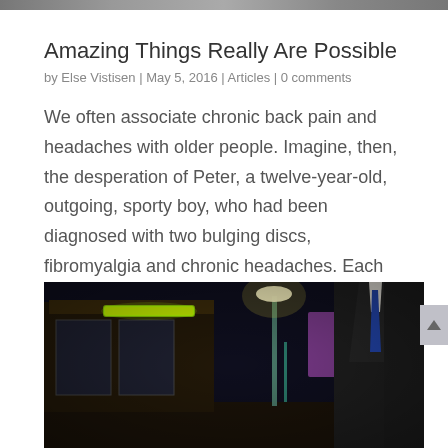[Figure (photo): Cropped top strip of a photo, dark/muted tones]
Amazing Things Really Are Possible
by Else Vistisen | May 5, 2016 | Articles | 0 comments
We often associate chronic back pain and headaches with older people. Imagine, then, the desperation of Peter, a twelve-year-old, outgoing, sporty boy, who had been diagnosed with two bulging discs, fibromyalgia and chronic headaches. Each and every day was an...
[Figure (photo): Night street scene photo with a man in a dark suit standing in front of illuminated storefronts with neon signs and a street lamp]